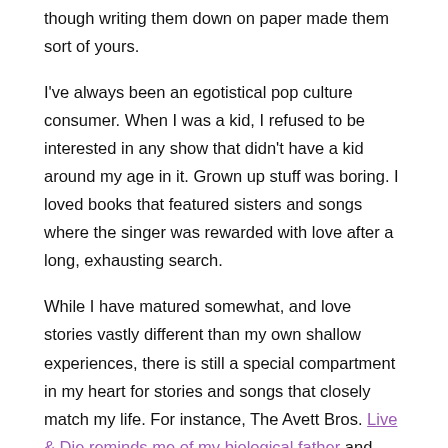though writing them down on paper made them sort of yours.
I've always been an egotistical pop culture consumer. When I was a kid, I refused to be interested in any show that didn't have a kid around my age in it. Grown up stuff was boring. I loved books that featured sisters and songs where the singer was rewarded with love after a long, exhausting search.
While I have matured somewhat, and love stories vastly different than my own shallow experiences, there is still a special compartment in my heart for stories and songs that closely match my life. For instance, The Avett Bros. Live & Die reminds me of my biological father and how I see myself in Eleanor from Eleanor & Park.
There are other compartments of my heart for music that reminds me of specific people I love ("Black" by Pearl Jam = Sister #2), there's one for music that reminds me of specific moments/eras of my life ("Hey Jealousy by the Gin Blossoms is drinking at The G.I. in the Fall of 1993 forever and ever), and of course there's the large place for the songs I